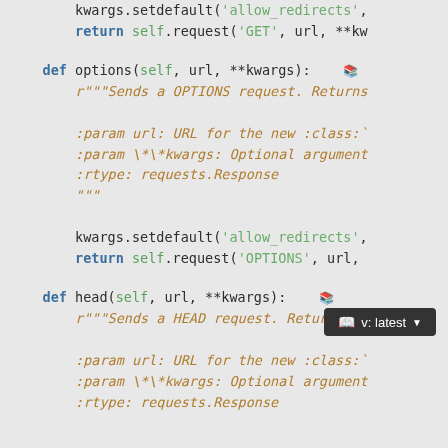kwargs.setdefault('allow_redirects', ...
return self.request('GET', url, **kw
def options(self, url, **kwargs):
    r"""Sends a OPTIONS request. Returns...

    :param url: URL for the new :class:`
    :param \*\*kwargs: Optional argument
    :rtype: requests.Response
    """

    kwargs.setdefault('allow_redirects', ...
    return self.request('OPTIONS', url, ...
def head(self, url, **kwargs):
    r"""Sends a HEAD request. Returns :c

    :param url: URL for the new :class:`
    :param \*\*kwargs: Optional argument
    :rtype: requests.Response